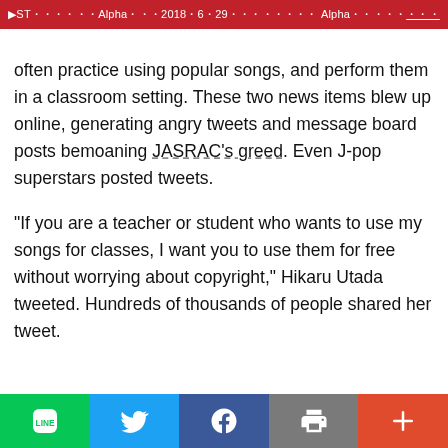ST Alpha 2018 6 29 Alpha
often practice using popular songs, and perform them in a classroom setting. These two news items blew up online, generating angry tweets and message board posts bemoaning JASRAC's greed. Even J-pop superstars posted tweets.
"If you are a teacher or student who wants to use my songs for classes, I want you to use them for free without worrying about copyright," Hikaru Utada tweeted. Hundreds of thousands of people shared her tweet.
LINE | Twitter | Facebook | Print | More